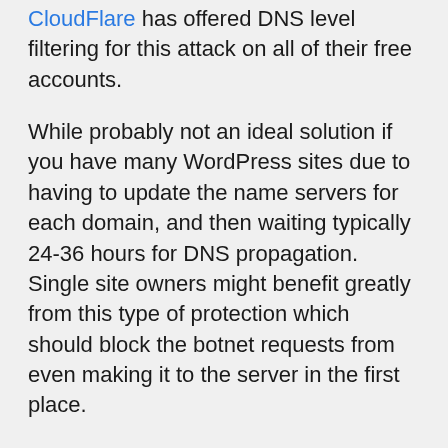CloudFlare has offered DNS level filtering for this attack on all of their free accounts.
While probably not an ideal solution if you have many WordPress sites due to having to update the name servers for each domain, and then waiting typically 24-36 hours for DNS propagation. Single site owners might benefit greatly from this type of protection which should block the botnet requests from even making it to the server in the first place.
7. Backup WordPress
At this point it's probably a good idea to backup WordPress just in case. That way, as the attacks continue, you're ensured that you always have a good point to restore back to in the event something goes bad.